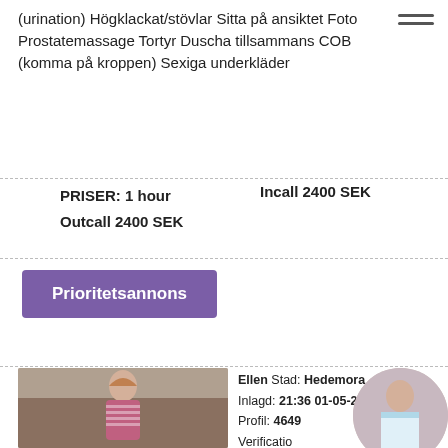(urination) Högklackat/stövlar Sitta på ansiktet Foto Prostatemassage Tortyr Duscha tillsammans COB (komma på kroppen) Sexiga underkläder
PRISER: 1 hour   Incall 2400 SEK
Outcall 2400 SEK
Prioritetsannons
Ellen Stad: Hedemora
Inlagd: 21:36 01-05-2021
Profil: 4649
Verification
Incall/Outc
Info
Telefon: +46XXX718566